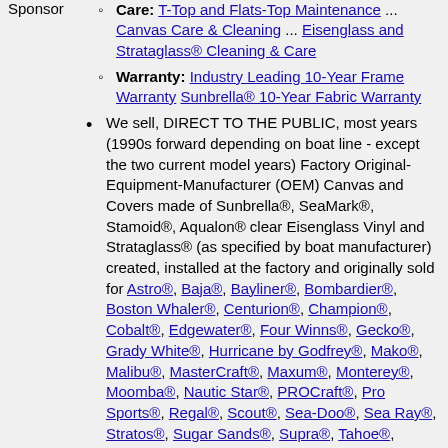Sponsor
Care: T-Top and Flats-Top Maintenance ... Canvas Care & Cleaning ... Eisenglass and Strataglass® Cleaning & Care
Warranty: Industry Leading 10-Year Frame Warranty Sunbrella® 10-Year Fabric Warranty
We sell, DIRECT TO THE PUBLIC, most years (1990s forward depending on boat line - except the two current model years) Factory Original-Equipment-Manufacturer (OEM) Canvas and Covers made of Sunbrella®, SeaMark®, Stamoid®, Aqualon® clear Eisenglass Vinyl and Strataglass® (as specified by boat manufacturer) created, installed at the factory and originally sold for Astro®, Baja®, Bayliner®, Bombardier®, Boston Whaler®, Centurion®, Champion®, Cobalt®, Edgewater®, Four Winns®, Gecko®, Grady White®, Hurricane by Godfrey®, Mako®, Malibu®, MasterCraft®, Maxum®, Monterey®, Moomba®, Nautic Star®, PROCraft®, Pro Sports®, Regal®, Scout®, Sea-Doo®, Sea Ray®, Stratos®, Sugar Sands®, Supra®, Tahoe®, Tige®, Triton®, Triton Pontoons®, Yamaha®, Aquasport®, Astro®, Baja®, Blue Point®, BostonWhaler®, Cape Horn®, Carolina